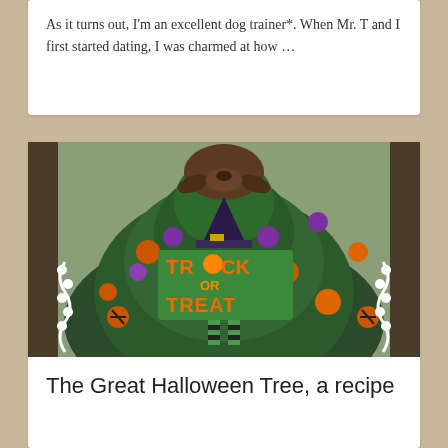As it turns out, I'm an excellent dog trainer*. When Mr. T and I first started dating, I was charmed at how …
[Figure (photo): A dachshund dog peeking out from a Halloween-decorated Christmas-style tree with purple and orange ornaments, a witch hat, and a 'Trick or Treat' sign]
The Great Halloween Tree, a recipe